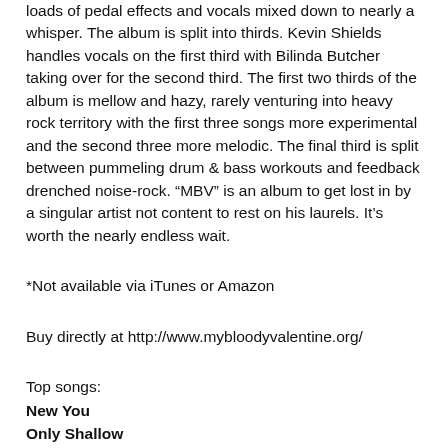loads of pedal effects and vocals mixed down to nearly a whisper. The album is split into thirds. Kevin Shields handles vocals on the first third with Bilinda Butcher taking over for the second third. The first two thirds of the album is mellow and hazy, rarely venturing into heavy rock territory with the first three songs more experimental and the second three more melodic. The final third is split between pummeling drum & bass workouts and feedback drenched noise-rock. “MBV” is an album to get lost in by a singular artist not content to rest on his laurels. It’s worth the nearly endless wait.
*Not available via iTunes or Amazon
Buy directly at http://www.mybloodyvalentine.org/
Top songs:
New You
Only Shallow